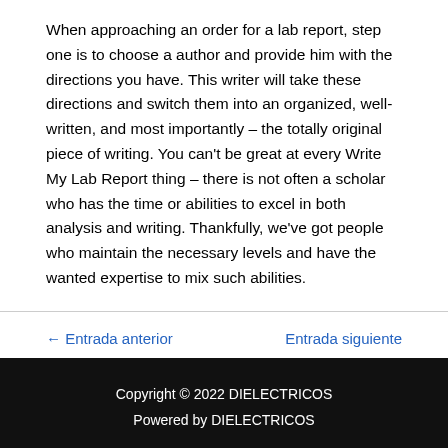When approaching an order for a lab report, step one is to choose a author and provide him with the directions you have. This writer will take these directions and switch them into an organized, well-written, and most importantly – the totally original piece of writing. You can't be great at every Write My Lab Report thing – there is not often a scholar who has the time or abilities to excel in both analysis and writing. Thankfully, we've got people who maintain the necessary levels and have the wanted expertise to mix such abilities.
← Entrada anterior
Entrada siguiente →
Copyright © 2022 DIELECTRICOS
Powered by DIELECTRICOS